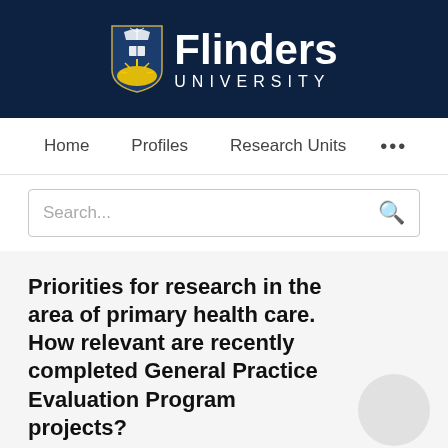[Figure (logo): Flinders University logo: shield with ship on top and an open book with a sunburst on a blue background, next to the text 'Flinders UNIVERSITY' in white on a dark navy background]
Home   Profiles   Research Units   ...
Search...
Priorities for research in the area of primary health care. How relevant are recently completed General Practice Evaluation Program projects?
Barbara Beacham, Elizabeth Kalucy, Belinda Lowcay